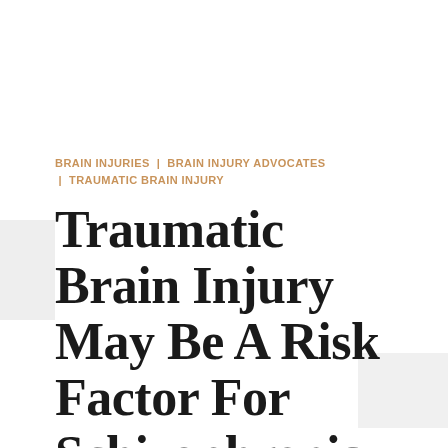BRAIN INJURIES | BRAIN INJURY ADVOCATES | TRAUMATIC BRAIN INJURY
Traumatic Brain Injury May Be A Risk Factor For Schizophrenia